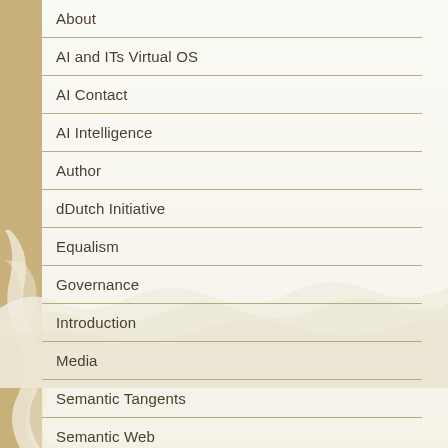About
AI and ITs Virtual OS
AI Contact
AI Intelligence
Author
dDutch Initiative
Equalism
Governance
Introduction
Media
Semantic Tangents
Semantic Web